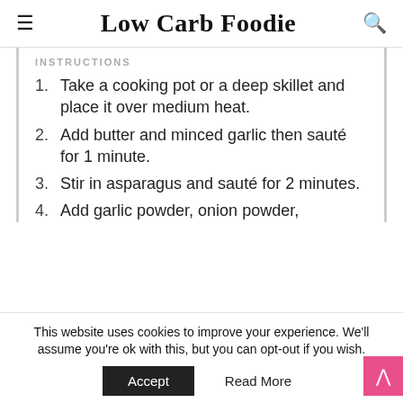Low Carb Foodie
INSTRUCTIONS
Take a cooking pot or a deep skillet and place it over medium heat.
Add butter and minced garlic then sauté for 1 minute.
Stir in asparagus and sauté for 2 minutes.
Add garlic powder, onion powder,
This website uses cookies to improve your experience. We'll assume you're ok with this, but you can opt-out if you wish.